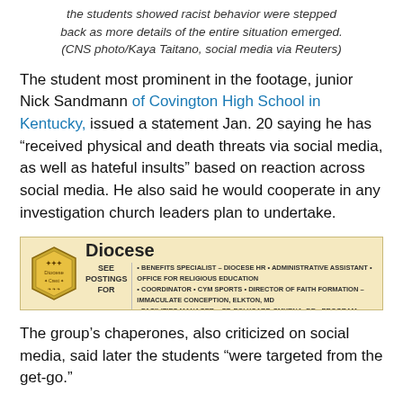the students showed racist behavior were stepped back as more details of the entire situation emerged. (CNS photo/Kaya Taitano, social media via Reuters)
The student most prominent in the footage, junior Nick Sandmann of Covington High School in Kentucky, issued a statement Jan. 20 saying he has “received physical and death threats via social media, as well as hateful insults” based on reaction across social media. He also said he would cooperate in any investigation church leaders plan to undertake.
[Figure (infographic): Advertisement banner for Jobs in Your Diocese at CDOW.ORG/JOBS, featuring a diocesan crest logo, job title text, and a list of positions including Benefits Specialist, Administrative Assistant, Coordinator, Director of Faith Formation, Facilities Manager, Program Manager.]
The group’s chaperones, also criticized on social media, said later the students “were targeted from the get-go.”
Covington High School, Covington Latin School and Covington’s diocesan offices were closed Jan. 22 due to threats of violence and